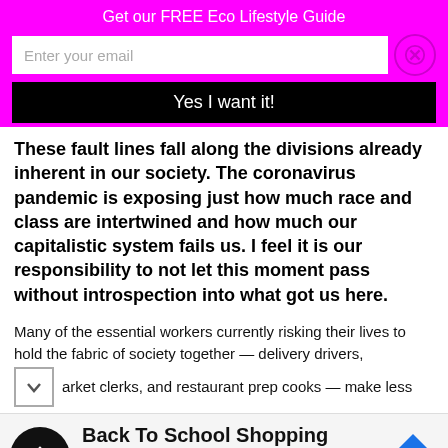Get our FREE Eco Lifestyle Guide
Enter your email
Yes I want it!
These fault lines fall along the divisions already inherent in our society. The coronavirus pandemic is exposing just how much race and class are intertwined and how much our capitalistic system fails us. I feel it is our responsibility to not let this moment pass without introspection into what got us here.
Many of the essential workers currently risking their lives to hold the fabric of society together — delivery drivers, market clerks, and restaurant prep cooks — make less
[Figure (infographic): Advertisement banner: Back To School Shopping Deals - Leesburg Premium Outlets, with circular black logo with arrow icon and blue diamond navigation icon]